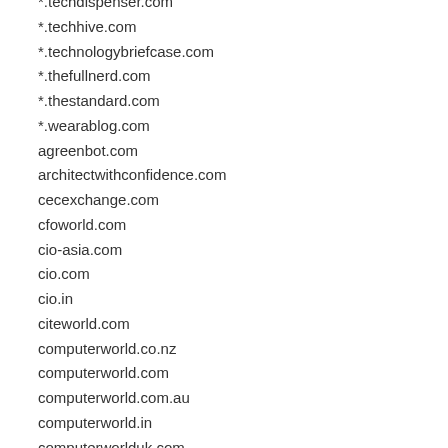*.techdispenser.com
*.techhive.com
*.technologybriefcase.com
*.thefullnerd.com
*.thestandard.com
*.wearablog.com
agreenbot.com
architectwithconfidence.com
cecexchange.com
cfoworld.com
cio-asia.com
cio.com
cio.in
citeworld.com
computerworld.co.nz
computerworld.com
computerworld.com.au
computerworld.in
computerworlduk.com
csoonline.com
csoonline.in
csoseminars.com